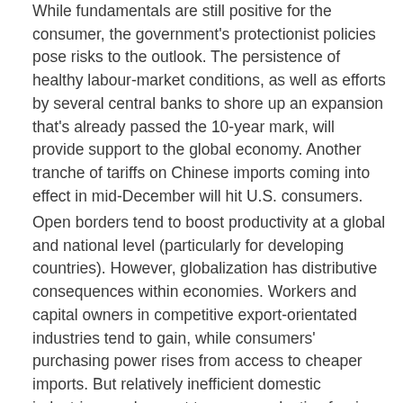While fundamentals are still positive for the consumer, the government's protectionist policies pose risks to the outlook. The persistence of healthy labour-market conditions, as well as efforts by several central banks to shore up an expansion that's already passed the 10-year mark, will provide support to the global economy. Another tranche of tariffs on Chinese imports coming into effect in mid-December will hit U.S. consumers.
Open borders tend to boost productivity at a global and national level (particularly for developing countries). However, globalization has distributive consequences within economies. Workers and capital owners in competitive export-orientated industries tend to gain, while consumers' purchasing power rises from access to cheaper imports. But relatively inefficient domestic industries can lose out to more productive foreign competition.